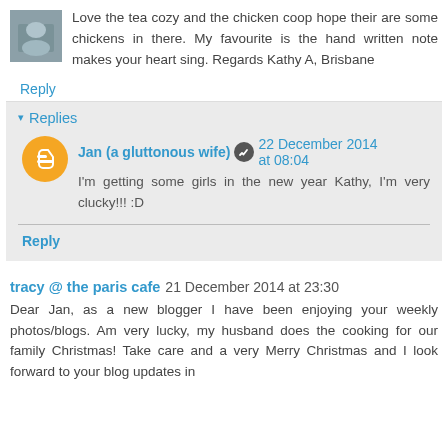Love the tea cozy and the chicken coop hope their are some chickens in there. My favourite is the hand written note makes your heart sing. Regards Kathy A, Brisbane
Reply
Replies
Jan (a gluttonous wife) 22 December 2014 at 08:04
I'm getting some girls in the new year Kathy, I'm very clucky!!! :D
Reply
tracy @ the paris cafe 21 December 2014 at 23:30
Dear Jan, as a new blogger I have been enjoying your weekly photos/blogs. Am very lucky, my husband does the cooking for our family Christmas! Take care and a very Merry Christmas and I look forward to your blog updates in